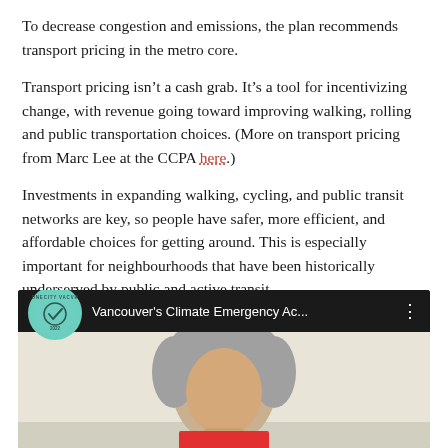To decrease congestion and emissions, the plan recommends transport pricing in the metro core.
Transport pricing isn't a cash grab. It's a tool for incentivizing change, with revenue going toward improving walking, rolling and public transportation choices. (More on transport pricing from Marc Lee at the CCPA here.)
Investments in expanding walking, cycling, and public transit networks are key, so people have safer, more efficient, and affordable choices for getting around. This is especially important for neighbourhoods that have been historically underserved by public and active transit.
[Figure (screenshot): YouTube video thumbnail showing 'Vancouver's Climate Emergency Ac...' with OneCity Vancouver 2022 logo and a person with grey hair visible below the video player bar.]